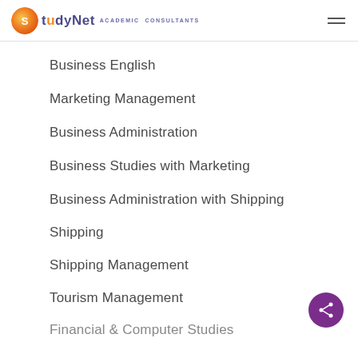StudyNet ACADEMIC CONSULTANTS
Business English
Marketing Management
Business Administration
Business Studies with Marketing
Business Administration with Shipping
Shipping
Shipping Management
Tourism Management
Financial & Computer Studies